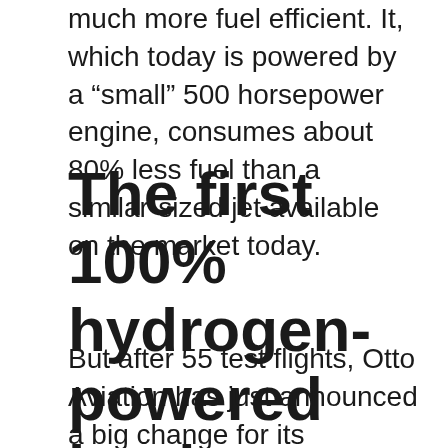much more fuel efficient. It, which today is powered by a “small” 500 horsepower engine, consumes about 80% less fuel than a similar-sized jet available on the market today.
The first 100% hydrogen-powered business jet?
But after 55 test flights, Otto Aviation has just announced a big change for its prototype. Indeed, the brand has just partnered with ZeroAvia to replace the current thermal engine with a hydrogen fuel cell. With the latter, the two companies hope